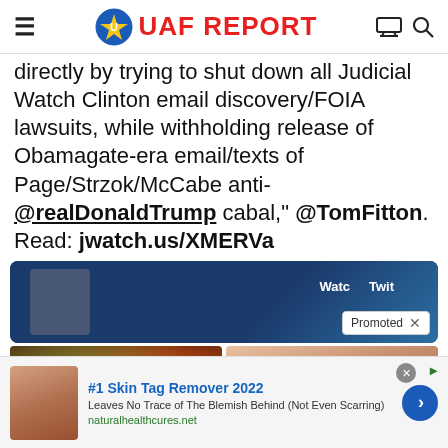UAF REPORT
directly by trying to shut down all Judicial Watch Clinton email discovery/FOIA lawsuits, while withholding release of Obamagate-era email/texts of Page/Strzok/McCabe anti-@realDonaldTrump cabal," @TomFitton. Read: jwatch.us/XMERVa
[Figure (screenshot): Video embed with 'Watch on Twitter' overlay and Promoted badge]
[Figure (photo): Two thumbnail images side by side: left shows colorful flower with play button, right shows a person's torso]
[Figure (infographic): Advertisement banner: #1 Skin Tag Remover 2022, Leaves No Trace of The Blemish Behind (Not Even Scarring), naturalhealthcures.net]